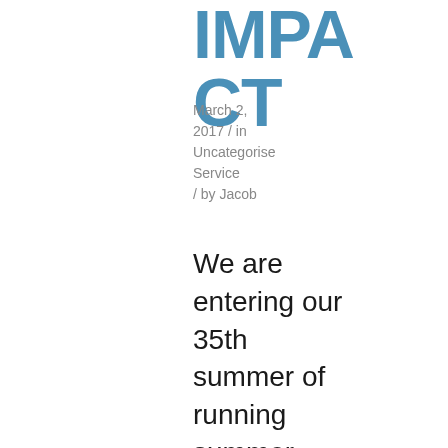IMPACT
March 2, 2017 / in Uncategorised Service / by Jacob
We are entering our 35th summer of running summer programs for teens. Over